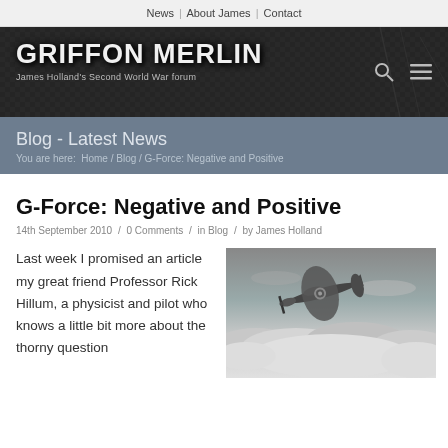News | About James | Contact
[Figure (screenshot): Griffon Merlin website header banner with dark textured background, site logo 'GRIFFON MERLIN' and subtitle 'James Holland's Second World War forum', search and menu icons]
Blog - Latest News
You are here:  Home / Blog / G-Force: Negative and Positive
G-Force: Negative and Positive
14th September 2010 / 0 Comments / in Blog / by James Holland
Last week I promised an article my great friend Professor Rick Hillum, a physicist and pilot who knows a little bit more about the thorny question
[Figure (photo): Black and white photograph of a Spitfire aircraft flying above clouds]